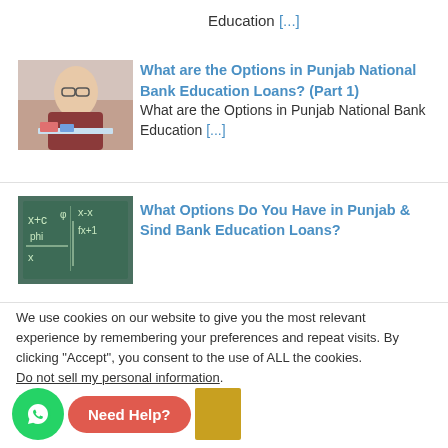Education [...]
[Figure (photo): Young woman with glasses studying at a desk with books]
What are the Options in Punjab National Bank Education Loans? (Part 1)
What are the Options in Punjab National Bank Education [...]
[Figure (photo): Blackboard with math equations]
What Options Do You Have in Punjab & Sind Bank Education Loans?
We use cookies on our website to give you the most relevant experience by remembering your preferences and repeat visits. By clicking "Accept", you consent to the use of ALL the cookies.
Do not sell my personal information.